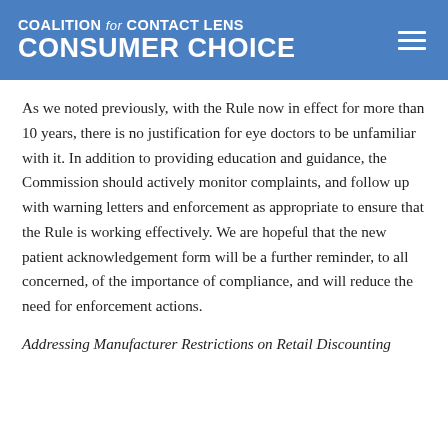COALITION for CONTACT LENS CONSUMER CHOICE
As we noted previously, with the Rule now in effect for more than 10 years, there is no justification for eye doctors to be unfamiliar with it. In addition to providing education and guidance, the Commission should actively monitor complaints, and follow up with warning letters and enforcement as appropriate to ensure that the Rule is working effectively. We are hopeful that the new patient acknowledgement form will be a further reminder, to all concerned, of the importance of compliance, and will reduce the need for enforcement actions.
Addressing Manufacturer Restrictions on Retail Discounting